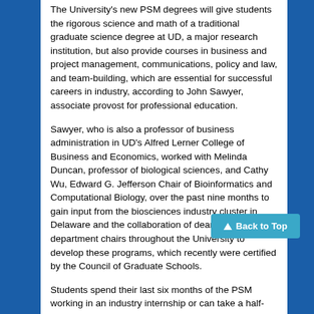The University's new PSM degrees will give students the rigorous science and math of a traditional graduate science degree at UD, a major research institution, but also provide courses in business and project management, communications, policy and law, and team-building, which are essential for successful careers in industry, according to John Sawyer, associate provost for professional education.
Sawyer, who is also a professor of business administration in UD's Alfred Lerner College of Business and Economics, worked with Melinda Duncan, professor of biological sciences, and Cathy Wu, Edward G. Jefferson Chair of Bioinformatics and Computational Biology, over the past nine months to gain input from the biosciences industry cluster in Delaware and the collaboration of deans and department chairs throughout the University to develop these programs, which recently were certified by the Council of Graduate Schools.
Students spend their last six months of the PSM working in an industry internship or can take a half-time internship while completing the last half of the program. UD has